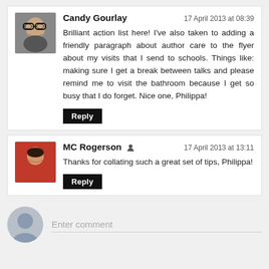[Figure (photo): Avatar photo of Candy Gourlay, a woman with glasses]
Candy Gourlay
17 April 2013 at 08:39
Brilliant action list here! I've also taken to adding a friendly paragraph about author care to the flyer about my visits that I send to schools. Things like: making sure I get a break between talks and please remind me to visit the bathroom because I get so busy that I do forget. Nice one, Philippa!
Reply
[Figure (photo): Avatar photo of MC Rogerson, a woman in a red top]
MC Rogerson
17 April 2013 at 13:11
Thanks for collating such a great set of tips, Philippa!
Reply
Enter comment